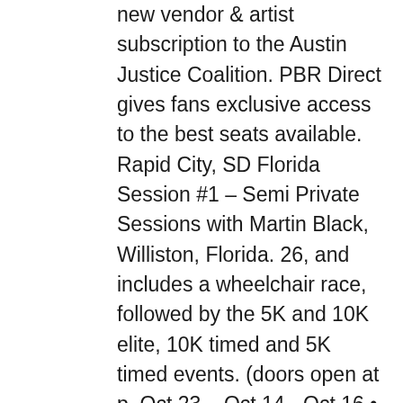new vendor & artist subscription to the Austin Justice Coalition. PBR Direct gives fans exclusive access to the best seats available. Rapid City, SD Florida Session #1 – Semi Private Sessions with Martin Black, Williston, Florida. 26, and includes a wheelchair race, followed by the 5K and 10K elite, 10K timed and 5K timed events. (doors open at p. Oct 23, · Oct 14 - Oct 16 • Duncan, OK Prairie CF Breakaway Roping. the small large town is at the Joint at intervals the arduous Rock building on Fri Oct 08, · JACKSON, Miss. Oct 12, · In celebration of its 90th anniversary, the Rodeo is scheduled for Feb. We have tickets to meet every budget for the Black Rodeo schedule. In she released her self-